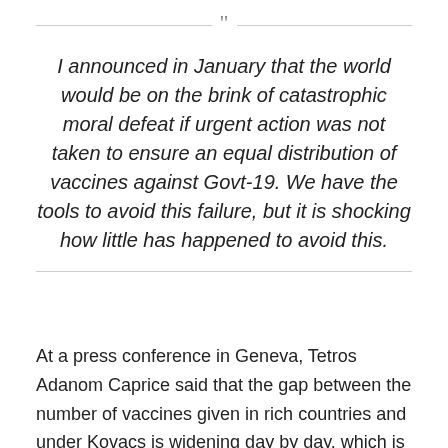I announced in January that the world would be on the brink of catastrophic moral defeat if urgent action was not taken to ensure an equal distribution of vaccines against Govt-19. We have the tools to avoid this failure, but it is shocking how little has happened to avoid this.
At a press conference in Geneva, Tetros Adanom Caprice said that the gap between the number of vaccines given in rich countries and under Kovacs is widening day by day, which is becoming more and more grim.
The Kovacs International Project, initiated by the World